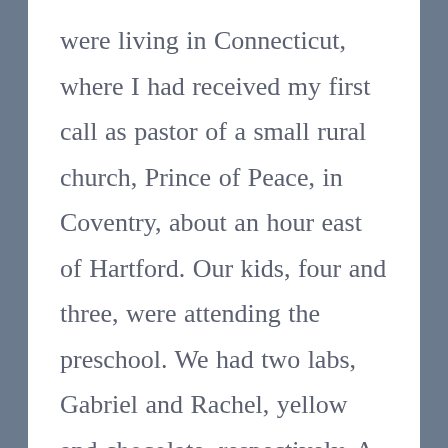were living in Connecticut, where I had received my first call as pastor of a small rural church, Prince of Peace, in Coventry, about an hour east of Hartford. Our kids, four and three, were attending the preschool. We had two labs, Gabriel and Rachel, yellow and chocolate, respectively. A big parsonage, probably 3,000 sq. ft. on four acres of land next door to the church. No AC. Only really got hot